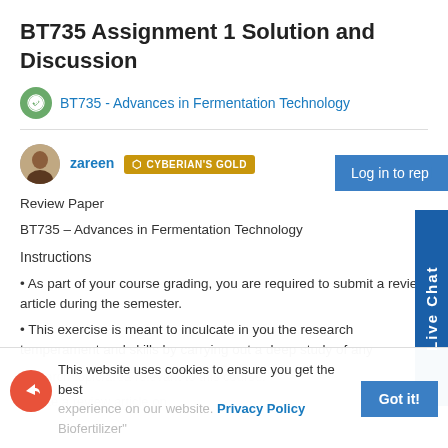BT735 Assignment 1 Solution and Discussion
BT735 - Advances in Fermentation Technology
zareen  CYBERIAN'S GOLD
Review Paper
BT735 – Advances in Fermentation Technology
Instructions
As part of your course grading, you are required to submit a review article during the semester.
This exercise is meant to inculcate in you the research temperament and skills by carrying out a deep study of any research topic/area relevant to this course.
Write a review article on
This website uses cookies to ensure you get the best experience on our website. Privacy Policy
Got it!